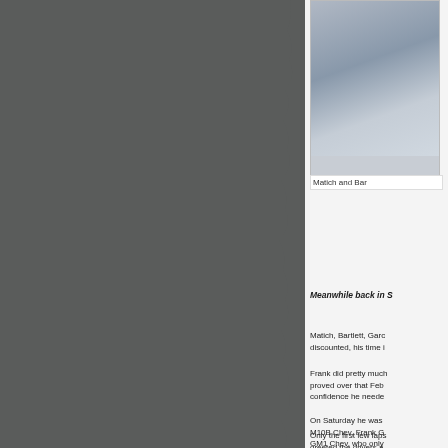[Figure (photo): Partial view of a photo showing Matich and Bar (name cut off), appears to be a racing-related image with a blurred motion background]
Matich and Bar
Meanwhile back in S
Matich, Bartlett, Garc... discounted, his time i...
Frank did pretty much... proved over that Feb... confidence he neede...
On Saturday he was... M10B Chev, Frank G... GM1 Chev, who only...
Only the first few laps... greeted the drivers a...